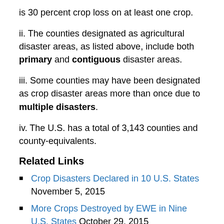is 30 percent crop loss on at least one crop.
ii. The counties designated as agricultural disaster areas, as listed above, include both primary and contiguous disaster areas.
iii. Some counties may have been designated as crop disaster areas more than once due to multiple disasters.
iv. The U.S. has a total of 3,143 counties and county-equivalents.
Related Links
Crop Disasters Declared in 10 U.S. States November 5, 2015
More Crops Destroyed by EWE in Nine U.S. States October 29, 2015